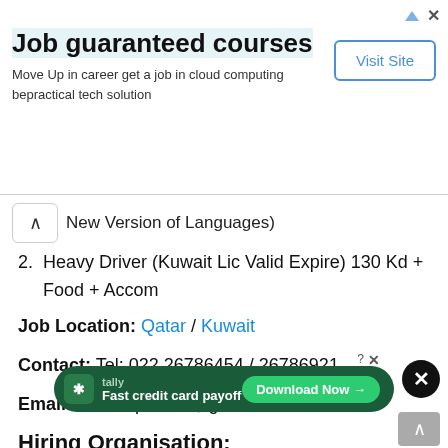[Figure (screenshot): Advertisement banner: 'Job guaranteed courses - Move Up in career get a job in cloud computing bepractical tech solution' with a 'Visit Site' button]
New Version of Languages)
2. Heavy Driver (Kuwait Lic Valid Expire) 130 Kd + Food + Accom
Job Location: Qatar / Kuwait
Contact: Tel: 022 26786454 / 26786921
Email: shaikhqatar81@gmail.com
Hiring Organisation:
Co...
Address: Shop No. 09, Crystal Park Chd Ltd, Nr
[Figure (screenshot): Tally ad overlay: 'Fast credit card payoff' with Download Now button and close icons]